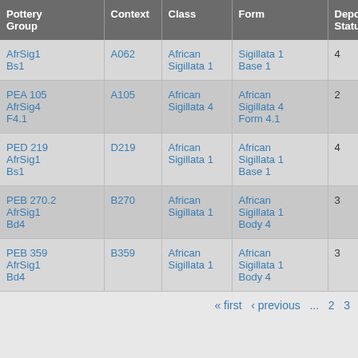| Pottery Group | Context | Class | Form | Depos Status | R Ct | R EVP |
| --- | --- | --- | --- | --- | --- | --- |
| AfrSig1 Bs1 | A062 | African Sigillata 1 | Sigillata 1 Base 1 | 4 |  |  |
| PEA 105 AfrSig4 F4.1 | A105 | African Sigillata 4 | African Sigillata 4 Form 4.1 | 2 |  |  |
| PED 219 AfrSig1 Bs1 | D219 | African Sigillata 1 | African Sigillata 1 Base 1 | 4 |  |  |
| PEB 270.2 AfrSig1 Bd4 | B270 | African Sigillata 1 | African Sigillata 1 Body 4 | 3 |  |  |
| PEB 359 AfrSig1 Bd4 | B359 | African Sigillata 1 | African Sigillata 1 Body 4 | 3 |  |  |
« first ‹ previous ... 2 3